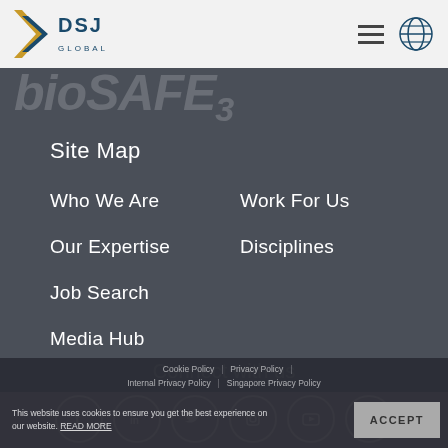[Figure (logo): DSJ Global logo with gold arrow icon and globe icon in header]
bioSAFE3
Site Map
Who We Are
Work For Us
Our Expertise
Disciplines
Job Search
Media Hub
Connect with us
[Figure (infographic): Social media icons row: Facebook, LinkedIn, Twitter, Instagram, YouTube, WeChat]
This website uses cookies to ensure you get the best experience on our website. READ MORE
Cookie Policy | Privacy Policy | Internal Privacy Policy | Singapore Privacy Policy